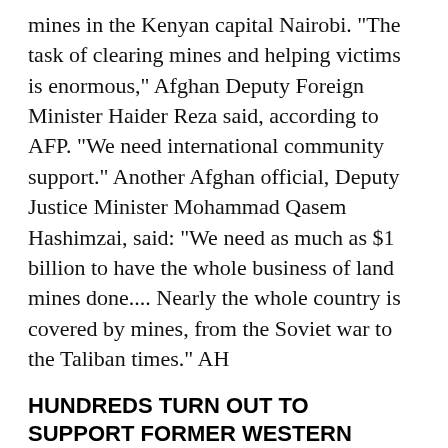mines in the Kenyan capital Nairobi. "The task of clearing mines and helping victims is enormous," Afghan Deputy Foreign Minister Haider Reza said, according to AFP. "We need international community support." Another Afghan official, Deputy Justice Minister Mohammad Qasem Hashimzai, said: "We need as much as $1 billion to have the whole business of land mines done.... Nearly the whole country is covered by mines, from the Soviet war to the Taliban times." AH
HUNDREDS TURN OUT TO SUPPORT FORMER WESTERN AFGHAN GOVERNOR ISMAIL KHAN
An estimated 500 supporters demonstrated on 28 November to show their support for former provincial Governor Mohammad Ismail Khan, who was ousted by Afghan Transitional Administration Chairman Hamid Karzai in mid-September, AFP